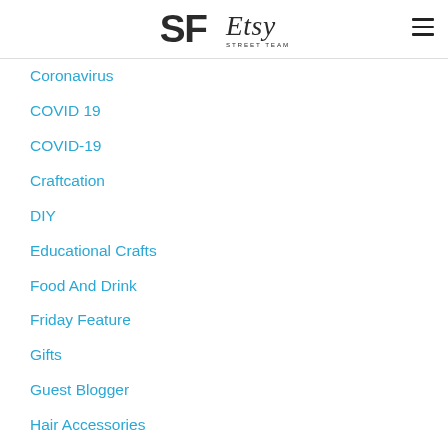SF Etsy Street Team
Coronavirus
COVID 19
COVID-19
Craftcation
DIY
Educational Crafts
Food And Drink
Friday Feature
Gifts
Guest Blogger
Hair Accessories
Halloween
Holiday
Holiday Show
Home
Home Decor
IHE2015